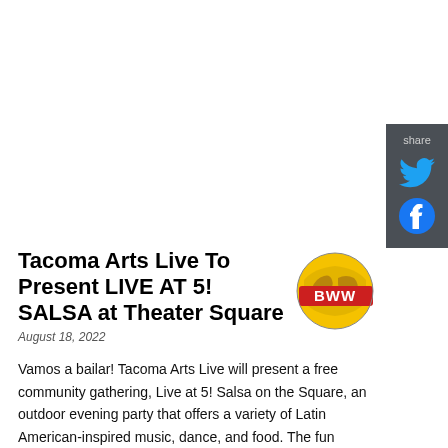[Figure (other): Share panel with Twitter and Facebook icons on dark gray background]
Tacoma Arts Live To Present LIVE AT 5! SALSA at Theater Square
[Figure (logo): BWW (BroadwayWorld) red and yellow globe logo with BWW text banner]
August 18, 2022
Vamos a bailar! Tacoma Arts Live will present a free community gathering, Live at 5! Salsa on the Square, an outdoor evening party that offers a variety of Latin American-inspired music, dance, and food. The fun begins on Friday, August 26, 2022 from 5:00 to 7:00 p.m. at Theater Square (on Broadway between 9th and 11th in downtown Tacoma).